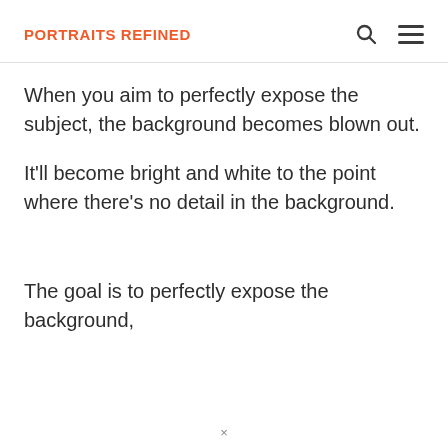PORTRAITS REFINED
When you aim to perfectly expose the subject, the background becomes blown out.
It'll become bright and white to the point where there's no detail in the background.
The goal is to perfectly expose the background,